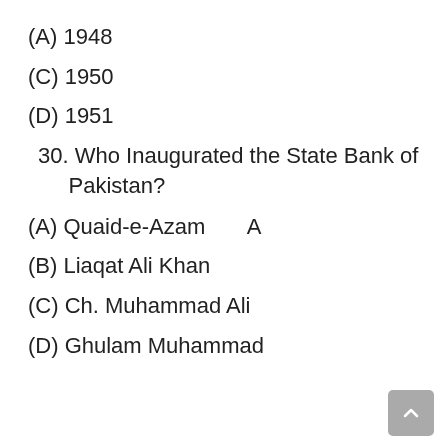(A) 1948
(C) 1950
(D) 1951
30. Who Inaugurated the State Bank of Pakistan?
(A) Quaid-e-Azam      A
(B) Liaqat Ali Khan
(C) Ch. Muhammad Ali
(D) Ghulam Muhammad